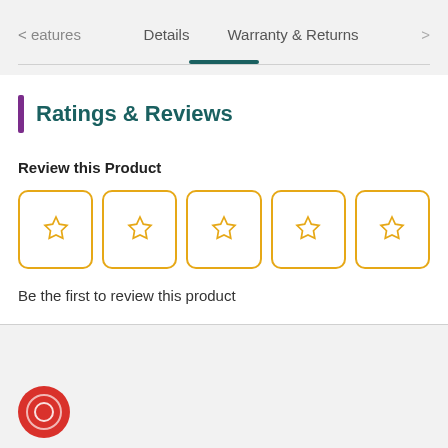< eatures   Details   Warranty & Returns   >
Ratings & Reviews
Review this Product
[Figure (other): Five empty star rating boxes with gold borders arranged in a row for rating input]
Be the first to review this product
[Figure (other): Red circular record/microphone button at the bottom left]